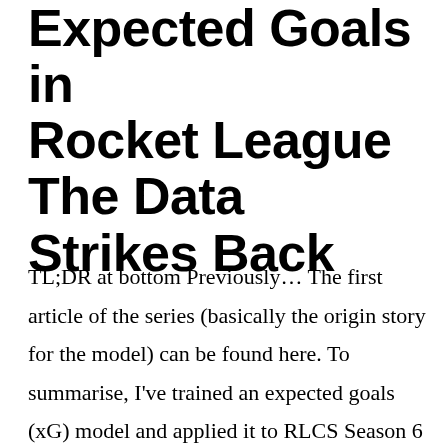Expected Goals in Rocket League The Data Strikes Back
TL;DR at bottom Previously… The first article of the series (basically the origin story for the model) can be found here. To summarise, I've trained an expected goals (xG) model and applied it to RLCS Season 6 League Play. The calculated stats and visualisations are here:    2D shot